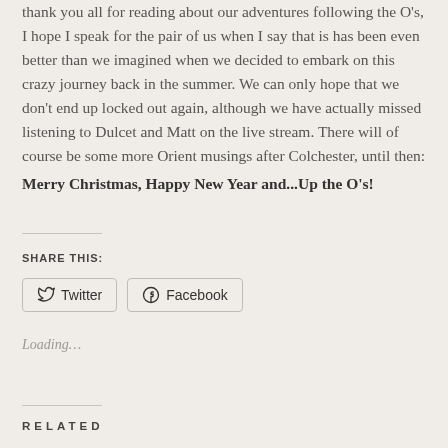thank you all for reading about our adventures following the O's, I hope I speak for the pair of us when I say that is has been even better than we imagined when we decided to embark on this crazy journey back in the summer. We can only hope that we don't end up locked out again, although we have actually missed listening to Dulcet and Matt on the live stream. There will of course be some more Orient musings after Colchester, until then:
Merry Christmas, Happy New Year and...Up the O's!
SHARE THIS:
Twitter
Facebook
Loading...
RELATED